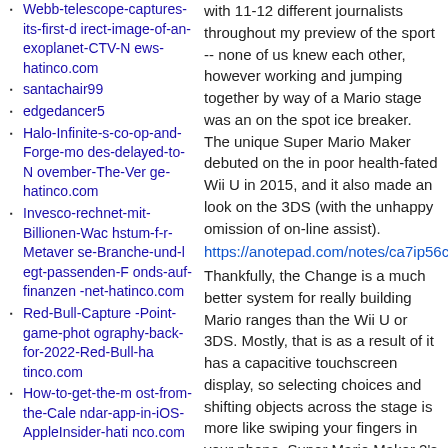Webb-telescope-captures-its-first-direct-image-of-an-exoplanet-CTV-News-hatinco.com
santachair99
edgedancer5
Halo-Infinite-s-co-op-and-Forge-modes-delayed-to-November-The-Verge-hatinco.com
Invesco-rechnet-mit-Billionen-Wachstum-f-r-Metaverse-Branche-und-legt-passenden-Fonds-auf-finanzen-net-hatinco.com
Red-Bull-Capture-Point-game-photography-back-for-2022-Red-Bull-hatinco.com
How-to-get-the-most-from-the-Calendar-app-in-iOS-AppleInsider-hatinco.com
Twitter-comenz-a-probar-funci-n-para-editar-tuits-30-minutos-despu-s-de-su-publicaci-n-Pulzo-com-hatinco.com
with 11-12 different journalists throughout my preview of the sport -- none of us knew each other, however working and jumping together by way of a Mario stage was an on the spot ice breaker. The unique Super Mario Maker debuted on the in poor health-fated Wii U in 2015, and it also made an look on the 3DS (with the unhappy omission of on-line assist).
https://anotepad.com/notes/ca7ip56c
Thankfully, the Change is a much better system for really building Mario ranges than the Wii U or 3DS. Mostly, that is as a result of it has a capacitive touchscreen display, so selecting choices and shifting objects across the stage is more like swiping your fingers in your phone. Super Mario Maker 2's longevity will rely upon its online community.</p><p> Then once more, you may not even notice how threadbare the story mode is as you are diving into all the levels being created by the Mario Maker neighborhood. There's little doubt Super Mario Maker 2 banks closely on nostalgia, but it is also a means for each outdated and new players to really grasp the power of 2D platformers. One